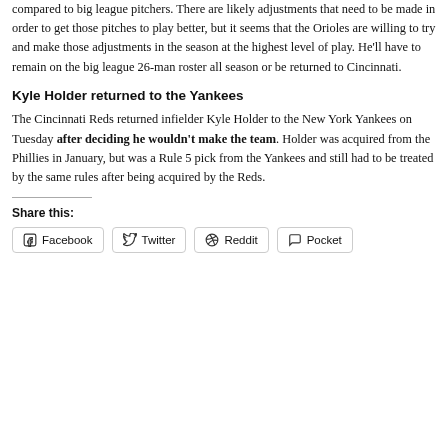compared to big league pitchers. There are likely adjustments that need to be made in order to get those pitches to play better, but it seems that the Orioles are willing to try and make those adjustments in the season at the highest level of play. He'll have to remain on the big league 26-man roster all season or be returned to Cincinnati.
Kyle Holder returned to the Yankees
The Cincinnati Reds returned infielder Kyle Holder to the New York Yankees on Tuesday after deciding he wouldn't make the team. Holder was acquired from the Phillies in January, but was a Rule 5 pick from the Yankees and still had to be treated by the same rules after being acquired by the Reds.
Share this:
Facebook
Twitter
Reddit
Pocket